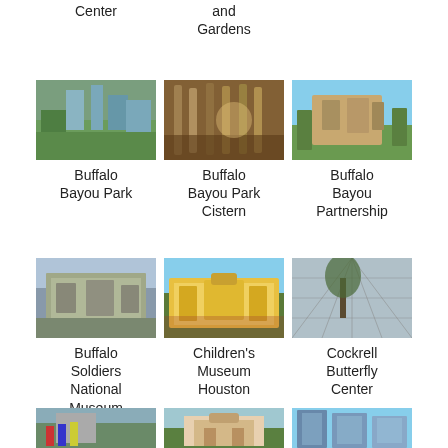Center
and Gardens
[Figure (photo): Buffalo Bayou Park - cityscape with skyline and green park]
Buffalo Bayou Park
[Figure (photo): Buffalo Bayou Park Cistern - interior of underground cistern]
Buffalo Bayou Park Cistern
[Figure (photo): Buffalo Bayou Partnership - building with trees]
Buffalo Bayou Partnership
[Figure (photo): Buffalo Soldiers National Museum - exterior of historic building]
Buffalo Soldiers National Museum
[Figure (photo): Children's Museum Houston - colorful exterior facade]
Children's Museum Houston
[Figure (photo): Cockrell Butterfly Center - glass dome structure with trees]
Cockrell Butterfly Center
[Figure (photo): Partial photo - building with flags]
[Figure (photo): Partial photo - historic red-roofed building]
[Figure (photo): Partial photo - modern glass skyscrapers]